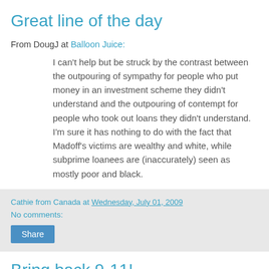Great line of the day
From DougJ at Balloon Juice:
I can’t help but be struck by the contrast between the outpouring of sympathy for people who put money in an investment scheme they didn’t understand and the outpouring of contempt for people who took out loans they didn’t understand. I’m sure it has nothing to do with the fact that Madoff’s victims are wealthy and white, while subprime loanees are (inaccurately) seen as mostly poor and black.
Cathie from Canada at Wednesday, July 01, 2009
No comments:
Share
Bring back 9-11!